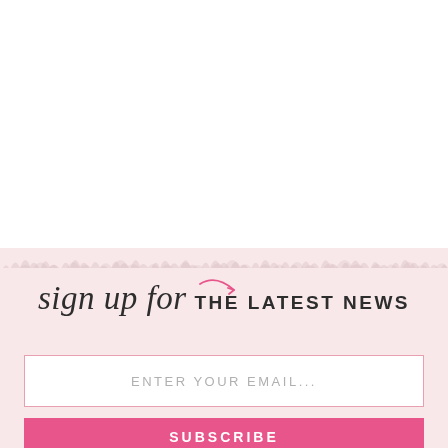[Figure (illustration): Pink newsletter sign-up banner with cursive and bold text reading 'sign up for THE LATEST NEWS', an email input field, and a pink subscribe button on a light pink background with a faint grass/field texture at the top edge.]
sign up for THE LATEST NEWS
ENTER YOUR EMAIL...
SUBSCRIBE